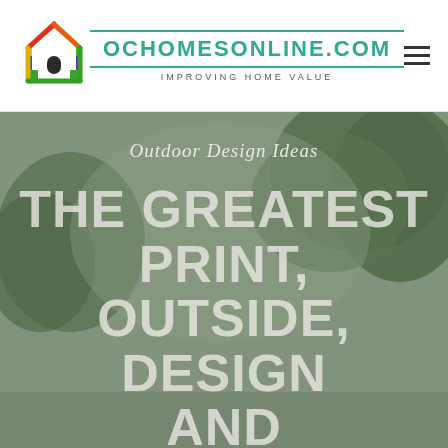[Figure (logo): Colorful house-shaped logo with rainbow outline and dark window]
OCHOMESONLINE.COM
IMPROVING HOME VALUE
Outdoor Design Ideas
THE GREATEST PRINT, OUTSIDE, DESIGN AND EXPERIENTIAL IDEAS OF 2018: A COUNTDOWN